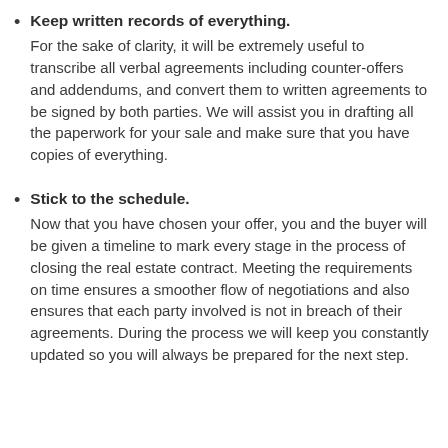Keep written records of everything. For the sake of clarity, it will be extremely useful to transcribe all verbal agreements including counter-offers and addendums, and convert them to written agreements to be signed by both parties. We will assist you in drafting all the paperwork for your sale and make sure that you have copies of everything.
Stick to the schedule. Now that you have chosen your offer, you and the buyer will be given a timeline to mark every stage in the process of closing the real estate contract. Meeting the requirements on time ensures a smoother flow of negotiations and also ensures that each party involved is not in breach of their agreements. During the process we will keep you constantly updated so you will always be prepared for the next step.